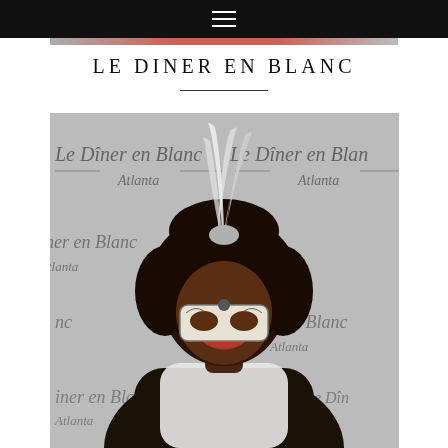≡
LE DINER EN BLANC
[Figure (photo): A person wearing a white feathered headpiece and white masquerade mask, posing in front of a Le Dîner en Blanc Atlanta branded step-and-repeat backdrop.]